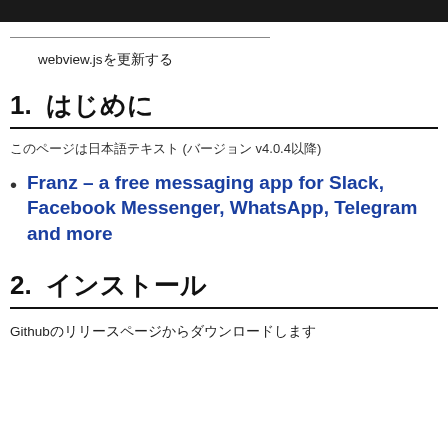webview.js(Japanese characters)
1. (Japanese characters)
(Japanese characters) (Japanese characters v4.0.4(Japanese characters))
Franz – a free messaging app for Slack, Facebook Messenger, WhatsApp, Telegram and more
2. (Japanese characters)
Github(Japanese characters)